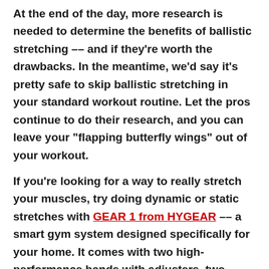At the end of the day, more research is needed to determine the benefits of ballistic stretching -- and if they're worth the drawbacks. In the meantime, we'd say it's pretty safe to skip ballistic stretching in your standard workout routine. Let the pros continue to do their research, and you can leave your “flapping butterfly wings” out of your workout.
If you’re looking for a way to really stretch your muscles, try doing dynamic or static stretches with GEAR 1 from HYGEAR -- a smart gym system designed specifically for your home. It comes with two high-performance bands with adjusters, two ergonomic handles, two sets of ankle straps and wristbands with smart sensors, a door anchor, and a carrying guide -- everything you need to get your best stretch yet!